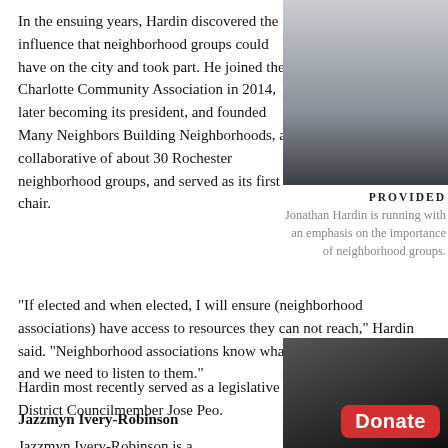In the ensuing years, Hardin discovered the influence that neighborhood groups could have on the city and took part. He joined the Charlotte Community Association in 2014, later becoming its president, and founded Many Neighbors Building Neighborhoods, a collaborative of about 30 Rochester neighborhood groups, and served as its first chair.
[Figure (photo): Headshot photo of Jonathan Hardin, a man smiling, wearing a dark shirt, photographed in front of a brick wall background.]
PROVIDED
Jonathan Hardin is running with an emphasis on the importance of neighborhood groups.
“If elected and when elected, I will ensure (neighborhood associations) have access to resources they can not reach,” Hardin said. “Neighborhood associations know what resources they need, and we need to listen to them.”
Hardin most recently served as a legislative aide for Northwest District Councilmember Jose Peo.
Jazzmyn Ivery-Robinson
Jazzmyn Ivery-Robinson is a
[Figure (photo): Partial photo of Jazzmyn Ivery-Robinson with a red Donate button overlay in the bottom right corner.]